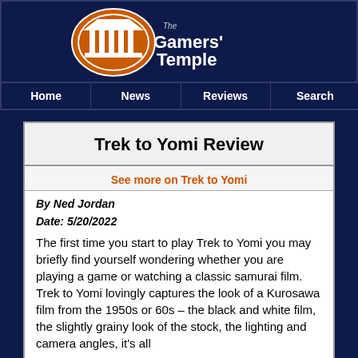[Figure (logo): The Gamers' Temple logo with orange and white temple building graphic and stylized text]
Home | News | Reviews | Search
Trek to Yomi Review
See more on Trek to Yomi
By Ned Jordan
Date: 5/20/2022
The first time you start to play Trek to Yomi you may briefly find yourself wondering whether you are playing a game or watching a classic samurai film. Trek to Yomi lovingly captures the look of a Kurosawa film from the 1950s or 60s – the black and white film, the slightly grainy look of the stock, the lighting and camera angles, it's all